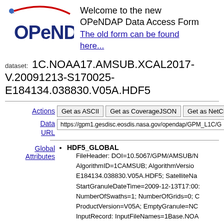[Figure (logo): OPeNDAP logo with red arc and blue star, blue bold text OPeNDAP]
Welcome to the new OPeNDAP Data Access Form
The old form can be found here...
dataset: 1C.NOAA17.AMSUB.XCAL2017-V.20091213-S170025-E184134.038830.V05A.HDF5
Actions | Get as ASCII | Get as CoverageJSON | Get as NetCDF 3
Data URL: https://gpm1.gesdisc.eosdis.nasa.gov/opendap/GPM_L1C/G...
HDF5_GLOBAL
FileHeader: DOI=10.5067/GPM/AMSUB/N... AlgorithmID=1CAMSUB; AlgorithmVersio... E184134.038830.V05A.HDF5; SatelliteNa... StartGranuleDateTime=2009-12-13T17:00:... NumberOfSwaths=1; NumberOfGrids=0; C... ProductVersion=V05A; EmptyGranule=NC...
InputRecord: InputFileNames=1Base.NOA...